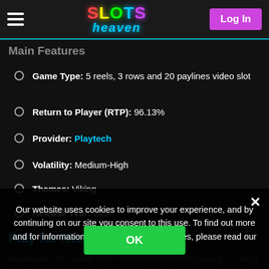SLOTS heaven — Log In
Main Features
Game Type: 5 reels, 3 rows and 20 paylines video slot
Return to Player (RTP): 96.13%
Provider: Playtech
Volatility: Medium-High
Themes: Viking
Release Year: 2017
Play for Real Money
slotsheaven.com Canada: First, register your account by tapping or clicking on the "Join" button. Then once you're logged in, fund yo... our Canadian-friendly payment methods.
Our website uses cookies to improve your experience, and by continuing on our site you consent to this use. To find out more and for information on how to manage cookies, please read our Cookies Policy.
OK